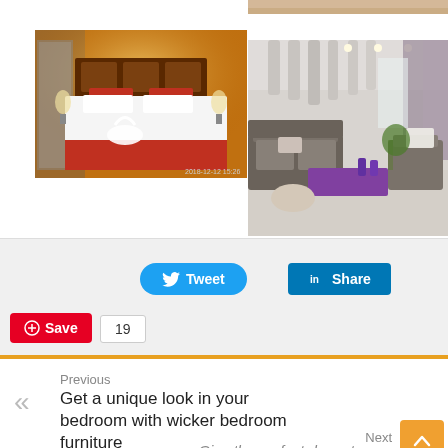[Figure (photo): Hotel bedroom with orange/brown walls, red pillows, white bedding and towel swan decoration]
[Figure (photo): Top strip of a beige image partially visible at top right]
[Figure (photo): Modern living room with grey sofas, white columns/ceiling details, purple coffee table and curtains]
Tweet
Share
Save
19
Previous
Get a unique look in your bedroom with wicker bedroom furniture
Next
Give the perfect decor to your